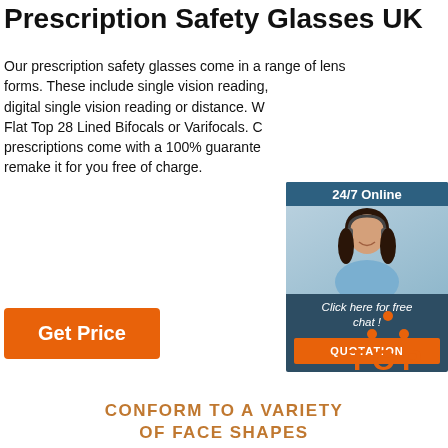Prescription Safety Glasses UK
Our prescription safety glasses come in a range of lens forms. These include single vision reading, digital single vision reading or distance. W... Flat Top 28 Lined Bifocals or Varifocals. C... prescriptions come with a 100% guarantee... remake it for you free of charge.
[Figure (infographic): Live chat widget showing a smiling woman with a headset, header '24/7 Online', text 'Click here for free chat!', and an orange QUOTATION button]
Get Price
[Figure (logo): Orange TOP logo with dots forming a triangle above the letters T-O-P]
CONFORM TO A VARIETY OF FACE SHAPES